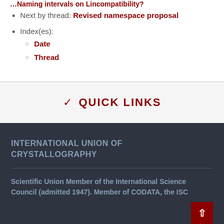Next by thread: Revised namespace proposal
Index(es):
Date
Thread
QUICK LINKS
INTERNATIONAL UNION OF CRYSTALLOGRAPHY
Scientific Union Member of the International Science Council (admitted 1947). Member of CODATA, the ISC